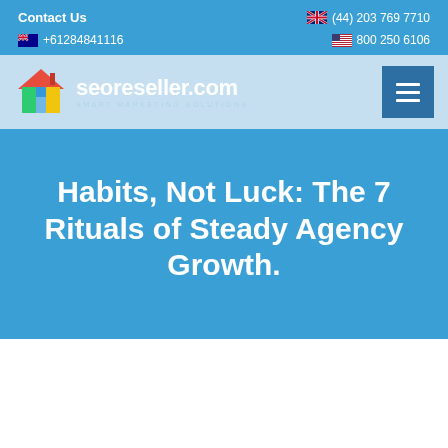Contact Us   🇬🇧 (44) 203 769 7710   🇦🇺 +61284841116   🇺🇸 800 250 6106
[Figure (logo): seoreseller.com Smart Marketing Solutions logo with colorful house icon]
Habits, Not Luck: The 7 Rituals of Steady Agency Growth.